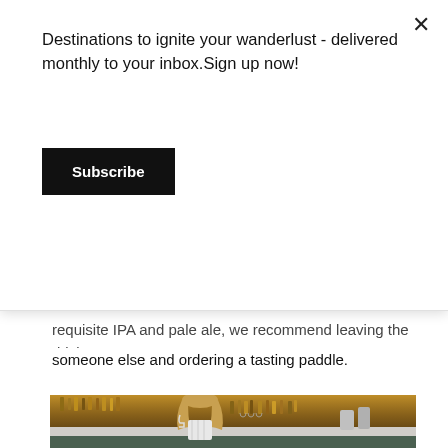Destinations to ignite your wanderlust - delivered monthly to your inbox.Sign up now!
Subscribe
requisite IPA and pale ale, we recommend leaving the driving to someone else and ordering a tasting paddle.
[Figure (photo): A woman with long blonde hair seen from behind, sitting at a bar with a wine glass in hand, shelves of liquor bottles behind the bar, warm golden lighting]